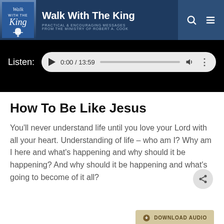Walk With The King — PRACTICAL & ENCOURAGING MESSAGES FROM THE MINISTRY OF ROBERT A. COOK
[Figure (screenshot): Audio player showing 0:00 / 13:59 with play button, progress bar, volume and more icons on dark background with Listen: label]
How To Be Like Jesus
You'll never understand life until you love your Lord with all your heart. Understanding of life – who am I? Why am I here and what's happening and why should it be happening? And why should it be happening and what's going to become of it all?